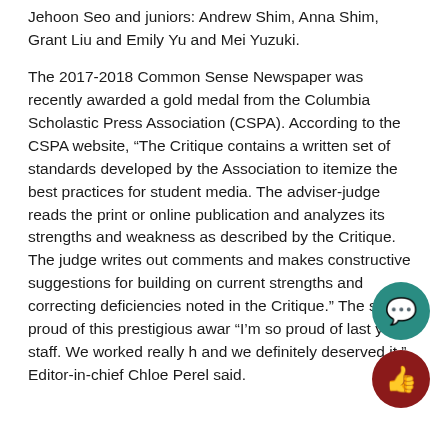Jehoon Seo and juniors: Andrew Shim, Anna Shim, Grant Liu and Emily Yu and Mei Yuzuki.
The 2017-2018 Common Sense Newspaper was recently awarded a gold medal from the Columbia Scholastic Press Association (CSPA). According to the CSPA website, “The Critique contains a written set of standards developed by the Association to itemize the best practices for student media. The adviser-judge reads the print or online publication and analyzes its strengths and weakness as described by the Critique. The judge writes out comments and makes constructive suggestions for building on current strengths and correcting deficiencies noted in the Critique.” The staff is proud of this prestigious award. “I’m so proud of last year’s staff. We worked really hard and we definitely deserved it,” Editor-in-chief Chloe Perel said.